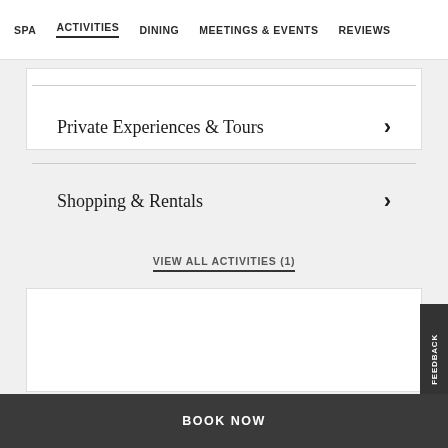SPA  ACTIVITIES  DINING  MEETINGS & EVENTS  REVIEWS
Private Experiences & Tours
Shopping & Rentals
VIEW ALL ACTIVITIES (1)
FEEDBACK
BOOK NOW